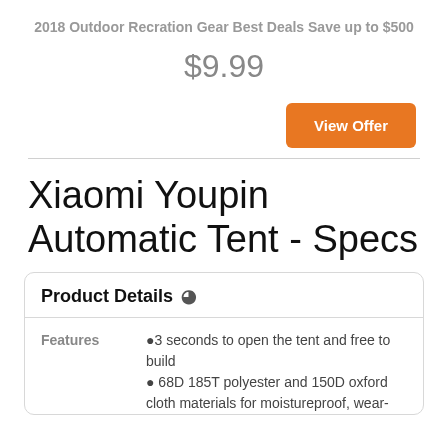2018 Outdoor Recration Gear Best Deals Save up to $500
$9.99
View Offer
Xiaomi Youpin Automatic Tent - Specs
Product Details ◎
|  |  |
| --- | --- |
| Features | ●3 seconds to open the tent and free to build
● 68D 185T polyester and 150D oxford cloth materials for moistureproof, wear- |